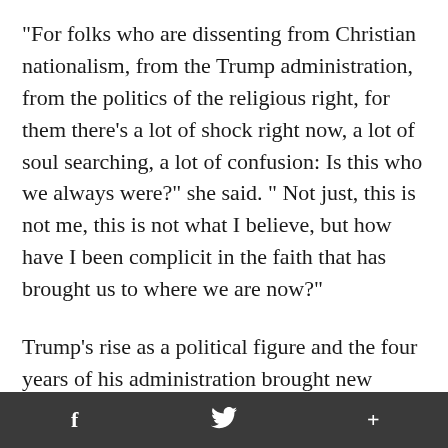"For folks who are dissenting from Christian nationalism, from the Trump administration, from the politics of the religious right, for them there's a lot of shock right now, a lot of soul searching, a lot of confusion: Is this who we always were?" she said. " Not just, this is not me, this is not what I believe, but how have I been complicit in the faith that has brought us to where we are now?"
Trump's rise as a political figure and the four years of his administration brought new attention to Christian nationalism, an
f   🐦   +